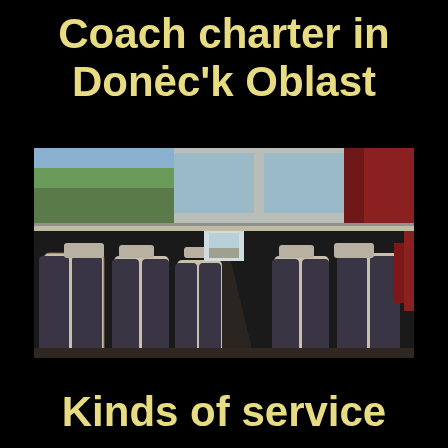Coach charter in Donėc'k Oblast
[Figure (photo): Interior of a luxury coach bus showing rows of beige and dark blue/grey seats receding toward the front of the vehicle, with large windows on the left side showing trees outside, orange curtains visible, and a view through the windshield ahead.]
Kinds of service